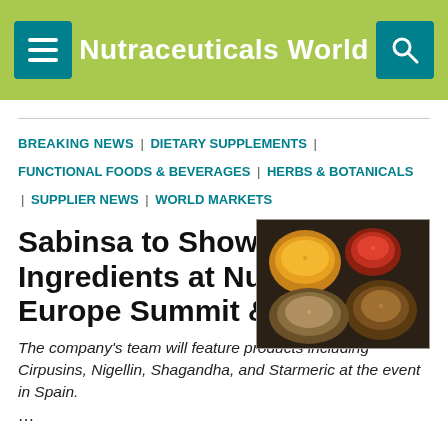Nutraceuticals World
BREAKING NEWS | DIETARY SUPPLEMENTS | FUNCTIONAL FOODS & BEVERAGES | HERBS & BOTANICALS | SUPPLIER NEWS | WORLD MARKETS
[Figure (photo): Bowls of colorful spices and herbs including turmeric, seeds, and other botanicals viewed from above]
Sabinsa to Showcase Ingredients at Nutraceuticals Europe Summit & Expo
The company's team will feature products including Cirpusins, Nigellin, Shagandha, and Starmeric at the event in Spain.